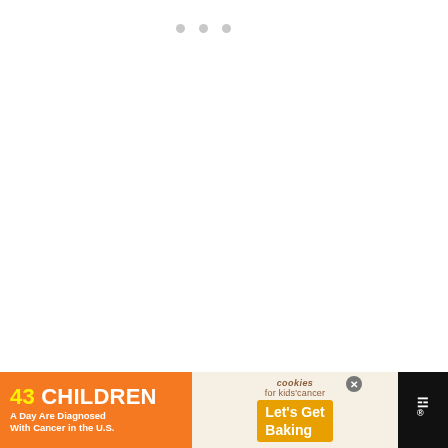[Figure (screenshot): White content area with three gray dots at top (image loading indicator)]
[Figure (infographic): Orange circular like/heart button with count 7 below, and share button below that]
[Figure (infographic): What's Next panel showing thumbnail of baked goods and text 'WHAT'S NEXT → Cujidatta Cookie Recipe']
From dough ball, pull a ping-pong ball sized pi... disc
[Figure (screenshot): Ad banner: '43 CHILDREN A Day Are Diagnosed With Cancer in the U.S.' with cookies for kids' cancer branding, Let's Get Baking CTA, and III logo]